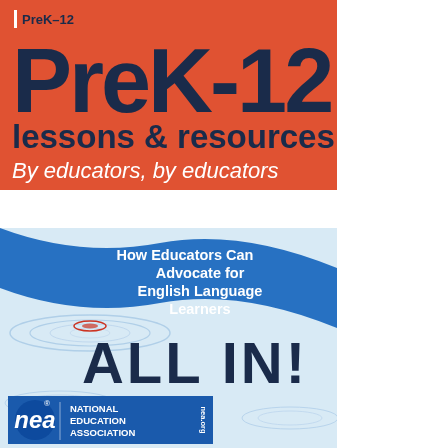[Figure (illustration): Orange/red banner with NEA PreK-12 lessons & resources branding. Dark navy text reading 'PreK-12' in large bold font, 'lessons & resources' below, and italic white text 'By educators, by educators' at the bottom.]
[Figure (illustration): Blue banner with wave/ripple design. White text 'How Educators Can Advocate for English Language Learners', large navy text 'ALL IN!', and NEA National Education Association logo at the bottom left.]